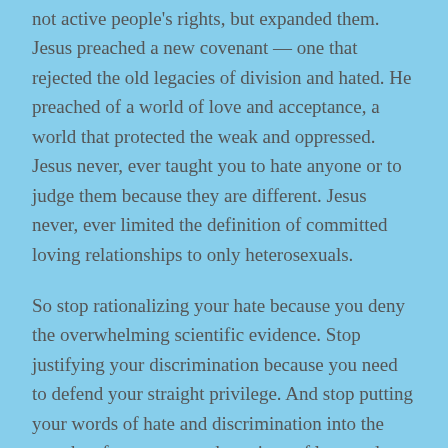not active people's rights, but expanded them. Jesus preached a new covenant — one that rejected the old legacies of division and hated. He preached of a world of love and acceptance, a world that protected the weak and oppressed. Jesus never, ever taught you to hate anyone or to judge them because they are different. Jesus never, ever limited the definition of committed loving relationships to only heterosexuals.
So stop rationalizing your hate because you deny the overwhelming scientific evidence. Stop justifying your discrimination because you need to defend your straight privilege. And stop putting your words of hate and discrimination into the mouths of our greatest champions of love and justice.
Share this: